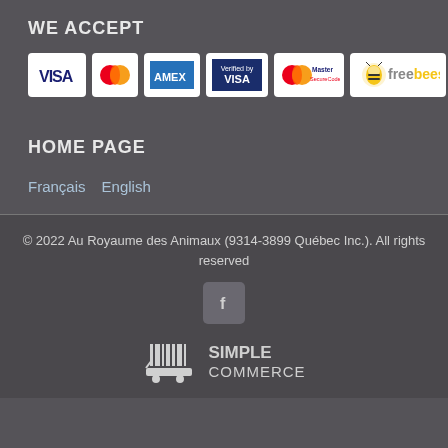WE ACCEPT
[Figure (logo): Payment method logos: VISA, MasterCard, AMEX, Verified by VISA, MasterCard SecureCode, freebees]
HOME PAGE
Français
English
© 2022 Au Royaume des Animaux (9314-3899 Québec Inc.). All rights reserved
[Figure (logo): Facebook icon button]
[Figure (logo): Simple Commerce logo with shopping cart icon]